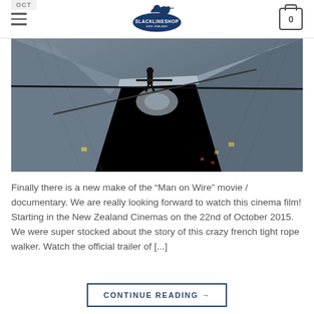Slacklineshop New Zealand
[Figure (photo): Aerial view from above of a person walking a tightrope high above city buildings, holding a balance pole, looking down at the World Trade Center plaza far below.]
Finally there is a new make of the “Man on Wire” movie / documentary. We are really looking forward to watch this cinema film! Starting in the New Zealand Cinemas on the 22nd of October 2015. We were super stocked about the story of this crazy french tight rope walker. Watch the official trailer of [...]
CONTINUE READING →